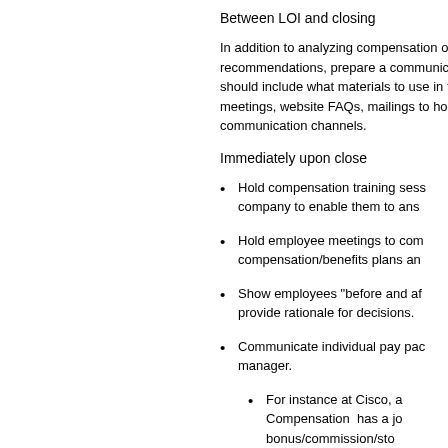Between LOI and closing
In addition to analyzing compensation of recommendations, prepare a communication plan should include what materials to use in town hall meetings, website FAQs, mailings to home, and other communication channels.
Immediately upon close
Hold compensation training sessions for managers in the acquired company to enable them to answer employee questions.
Hold employee meetings to communicate the new compensation/benefits plans and timing of changes.
Show employees "before and after" compensation comparisons and provide rationale for decisions.
Communicate individual pay packages through the employee's manager.
For instance at Cisco, a tool called Total Compensation has a job offer letter with base salary, bonus/commission/stock, and benefits — with intranet access ready for employees of acquired company on Day 1.